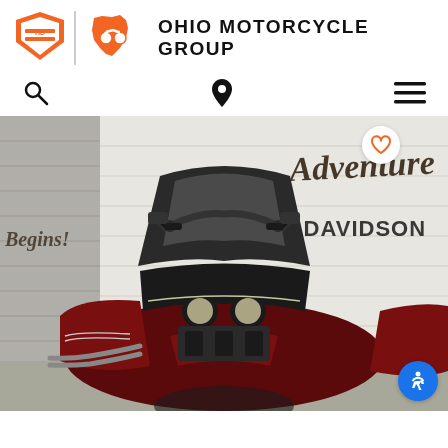[Figure (logo): Harley-Davidson shield logo in orange]
[Figure (logo): Ohio state shape with motorcycle graphic in orange]
OHIO MOTORCYCLE GROUP
[Figure (photo): A red and black Harley-Davidson motorcycle (touring/Ultra Limited style) parked inside a dealership showroom. The background wall has 'Adventure Begins! HARLEY-DAVIDSON' signage. A white heart/favorite button and blue accessibility button are overlaid on the photo.]